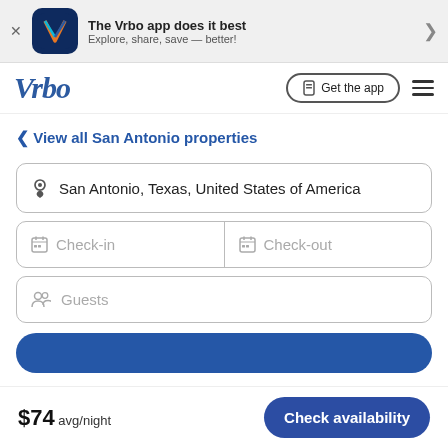[Figure (screenshot): Vrbo app promotional banner with app icon, text 'The Vrbo app does it best', and subtitle 'Explore, share, save — better!']
The Vrbo app does it best
Explore, share, save — better!
[Figure (logo): Vrbo logo in blue italic text]
Get the app
< View all San Antonio properties
San Antonio, Texas, United States of America
Check-in
Check-out
Guests
$74 avg/night
Check availability